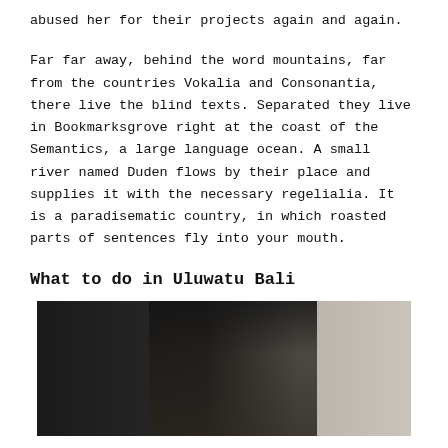abused her for their projects again and again.
Far far away, behind the word mountains, far from the countries Vokalia and Consonantia, there live the blind texts. Separated they live in Bookmarksgrove right at the coast of the Semantics, a large language ocean. A small river named Duden flows by their place and supplies it with the necessary regelialia. It is a paradisematic country, in which roasted parts of sentences fly into your mouth.
What to do in Uluwatu Bali
[Figure (photo): A person standing against a stone wall, wearing a dark jacket and holding what appears to be a bag, with long hair visible]